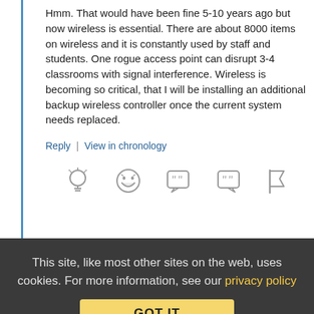Hmm. That would have been fine 5-10 years ago but now wireless is essential. There are about 8000 items on wireless and it is constantly used by staff and students. One rogue access point can disrupt 3-4 classrooms with signal interference. Wireless is becoming so critical, that I will be installing an additional backup wireless controller once the current system needs replaced.
Reply | View in chronology
[Figure (illustration): Row of reaction/action icons: lightbulb (idea), laughing emoji, speech bubble with open quote, speech bubble with close quote, flag]
Anonymous Coward   December 3, 2015 at 7:05 am
This site, like most other sites on the web, uses cookies. For more information, see our privacy policy
GOT IT